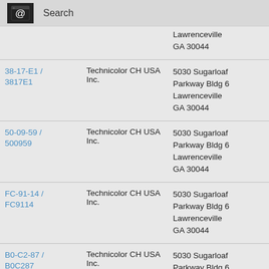Search
| ID | Company | Address | Country |
| --- | --- | --- | --- |
|  |  | Lawrenceville GA 30044 |  |
| 38-17-E1 / 3817E1 | Technicolor CH USA Inc. | 5030 Sugarloaf Parkway Bldg 6 Lawrenceville GA 30044 | US |
| 50-09-59 / 500959 | Technicolor CH USA Inc. | 5030 Sugarloaf Parkway Bldg 6 Lawrenceville GA 30044 | US |
| FC-91-14 / FC9114 | Technicolor CH USA Inc. | 5030 Sugarloaf Parkway Bldg 6 Lawrenceville GA 30044 | US |
| B0-C2-87 / B0C287 | Technicolor CH USA Inc. | 5030 Sugarloaf Parkway Bldg 6 Lawrenceville GA 30044 | US |